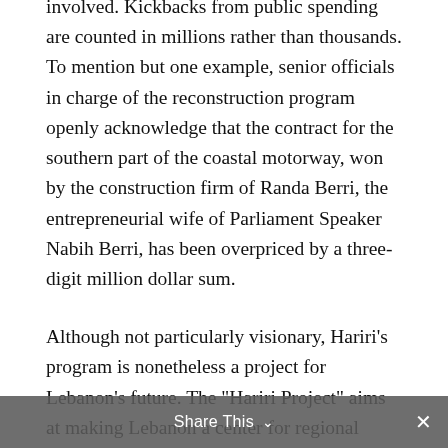involved. Kickbacks from public spending are counted in millions rather than thousands. To mention but one example, senior officials in charge of the reconstruction program openly acknowledge that the contract for the southern part of the coastal motorway, won by the construction firm of Randa Berri, the entrepreneurial wife of Parliament Speaker Nabih Berri, has been overpriced by a three-digit million dollar sum.
Although not particularly visionary, Hariri’s program is nonetheless a project for Lebanon’s future. The “Hariri Project” aims at making Lebanon a center for regional business and finance, as well as a tax paradise. Priority is given to the economic infrastructure that
Share This ⌵